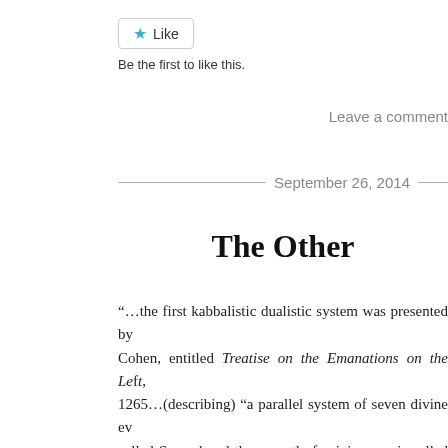[Figure (other): Like button with star icon]
Be the first to like this.
Leave a comment
September 26, 2014
The Other
“…the first kabbalistic dualistic system was presented by Cohen, entitled Treatise on the Emanations on the Left, 1265…(describing) “a parallel system of seven divine ev... called Samael and the seventh, feminine one is called Lili... them together and present them as a divine couple, para... who rule over a diverse structure of evil demons, who... universe against the powers of goodness, the emanations o... the first to present a hierarchy of evil powers and evil p...